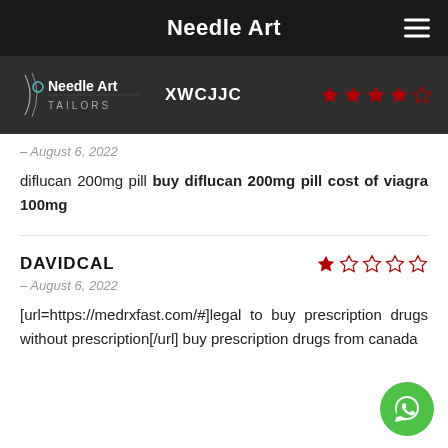Needle Art
[Figure (logo): Needle Art Tailors logo with needle and thread illustration]
XWCJJC
★★★★☆
– August 6, 2022
diflucan 200mg pill buy diflucan 200mg pill cost of viagra 100mg
DAVIDCAL
★☆☆☆☆
– August 6, 2022
[url=https://medrxfast.com/#]legal to buy prescription drugs without prescription[/url] buy prescription drugs from canada